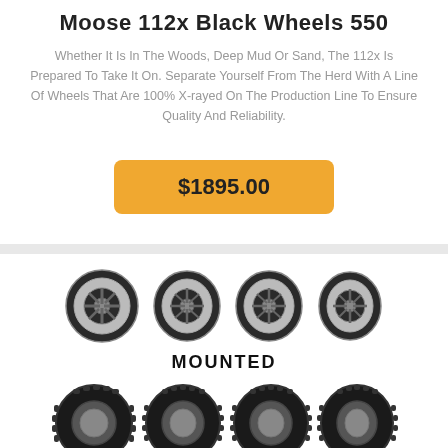Moose 112x Black Wheels 550
Whether It Is In The Woods, Deep Mud Or Sand, The 112x Is Prepared To Take It On. Separate Yourself From The Herd With A Line Of Wheels That Are 100% X-rayed On The Production Line To Ensure Quality And Reliability.
$1895.00
[Figure (photo): Four black alloy wheels arranged in a row, then a MOUNTED label, then four mounted tires with knobby tread arranged in a row below.]